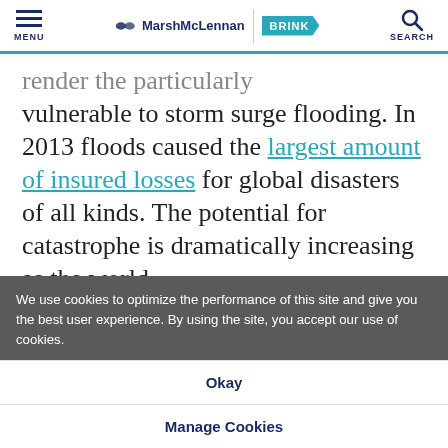MENU | MarshMcLennan BRINK | SEARCH
...render the particularly vulnerable to storm surge flooding. In 2013 floods caused the largest amount of insured losses for global disasters of all kinds. The potential for catastrophe is dramatically increasing as the world
We use cookies to optimize the performance of this site and give you the best user experience. By using the site, you accept our use of cookies.
Okay
Manage Cookies